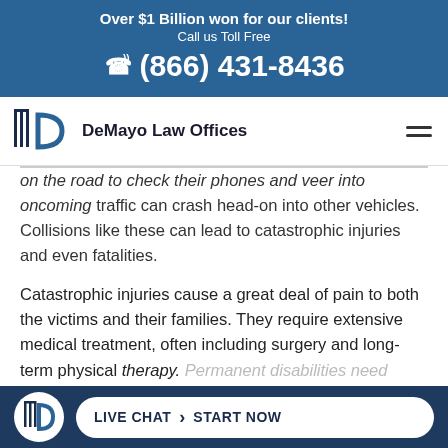Over $1 Billion won for our clients! Call us Toll Free (866) 431-8436
[Figure (logo): DeMayo Law Offices logo with column and D-shaped arc icon]
on the road to check their phones and veer into oncoming traffic can crash head-on into other vehicles. Collisions like these can lead to catastrophic injuries and even fatalities.
Catastrophic injuries cause a great deal of pain to both the victims and their families. They require extensive medical treatment, often including surgery and long-term physical therapy. Permanent disabilities need lifelong
LIVE CHAT › START NOW